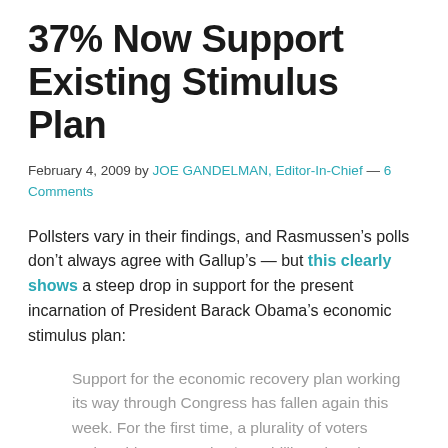37% Now Support Existing Stimulus Plan
February 4, 2009 by JOE GANDELMAN, Editor-In-Chief — 6 Comments
Pollsters vary in their findings, and Rasmussen's polls don't always agree with Gallup's — but this clearly shows a steep drop in support for the present incarnation of President Barack Obama's economic stimulus plan:
Support for the economic recovery plan working its way through Congress has fallen again this week. For the first time, a plurality of voters nationwide oppose the $800-billion-plus plan.